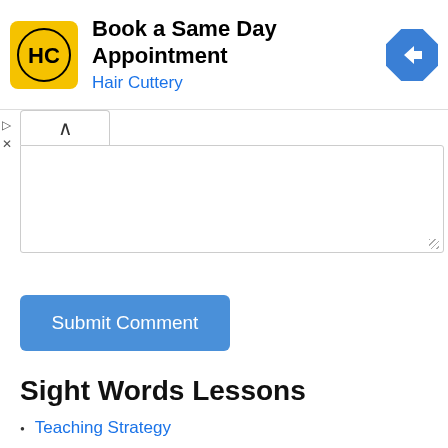[Figure (infographic): Advertisement banner for Hair Cuttery: Book a Same Day Appointment, showing yellow logo with HC initials, blue navigation arrow icon on right]
[Figure (screenshot): Comment form area with collapse caret-up button and text area box]
Submit Comment
Sight Words Lessons
Teaching Strategy
See & Say
Spell Reading
Arm Tapping